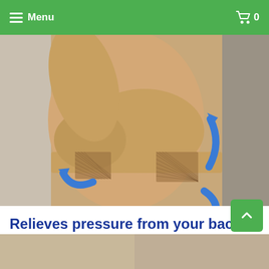Menu  0
[Figure (photo): Side view of a woman wearing a nude/tan seamless supportive bra with mesh side panels. Blue curved arrows overlay the image indicating pressure relief at the back and chest area.]
Relieves pressure from your back and chest area.
[Figure (photo): Partial bottom strip showing two cropped photo panels of women, partially visible at the bottom of the page.]